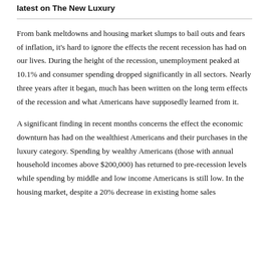latest on The New Luxury
From bank meltdowns and housing market slumps to bail outs and fears of inflation, it's hard to ignore the effects the recent recession has had on our lives. During the height of the recession, unemployment peaked at 10.1% and consumer spending dropped significantly in all sectors. Nearly three years after it began, much has been written on the long term effects of the recession and what Americans have supposedly learned from it.
A significant finding in recent months concerns the effect the economic downturn has had on the wealthiest Americans and their purchases in the luxury category. Spending by wealthy Americans (those with annual household incomes above $200,000) has returned to pre-recession levels while spending by middle and low income Americans is still low. In the housing market, despite a 20% decrease in existing home sales